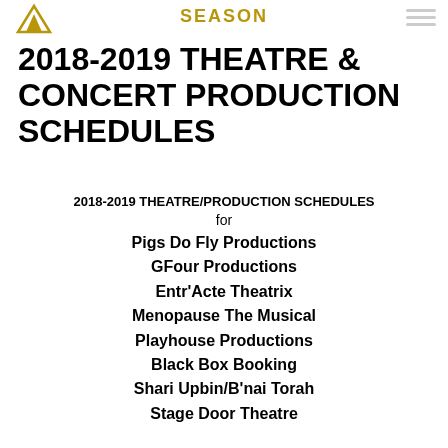SEASON
2018-2019 THEATRE & CONCERT PRODUCTION SCHEDULES
2018-2019 THEATRE/PRODUCTION SCHEDULES
for
Pigs Do Fly Productions
GFour Productions
Entr'Acte Theatrix
Menopause The Musical
Playhouse Productions
Black Box Booking
Shari Upbin/B'nai Torah
Stage Door Theatre